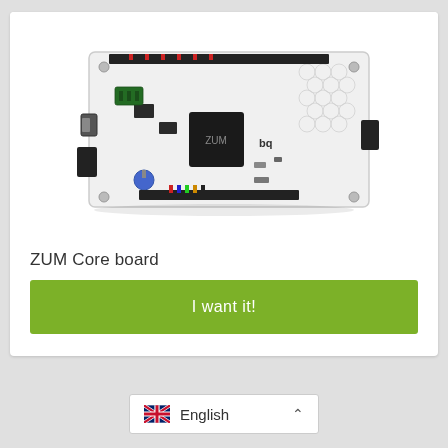[Figure (photo): ZUM Core board PCB — white circuit board with microcontroller chips, pin headers, USB port, colored wires, and BQ branding]
ZUM Core board
I want it!
English